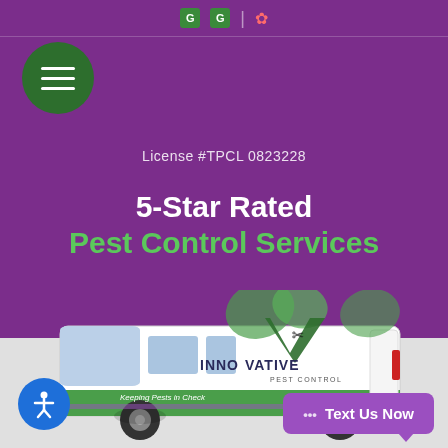G G | Yelp (social icons)
[Figure (logo): Green circle with hamburger menu icon (three white horizontal lines)]
License #TPCL 0823228
5-Star Rated
Pest Control Services
[Figure (photo): Innovative Pest Control branded white van with green and purple leaf graphics, text: INNOVATIVE PEST CONTROL, Keeping Pests in Check]
[Figure (logo): Blue circle accessibility icon (person with arms outstretched)]
... Text Us Now